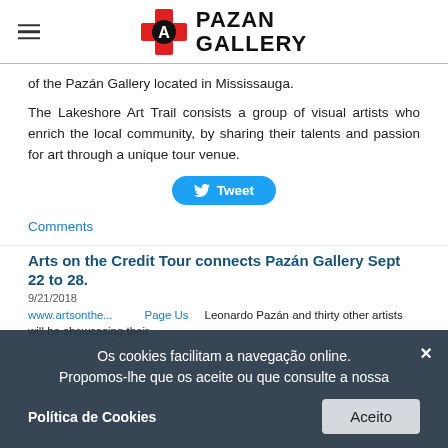PAZAN GALLERY
of the Pazán Gallery located in Mississauga.
The Lakeshore Art Trail consists a group of visual artists who enrich the local community, by sharing their talents and passion for art through a unique tour venue.
[Figure (other): Tweet button with Twitter bird icon]
Comments
Arts on the Credit Tour connects Pazán Gallery Sept 22 to 28.
9/21/2018
www.artsonthe...          Page Us    Leonardo Pazán and thirty other artists will be showcasing their art at various locations through the province village of Port...
Os cookies facilitam a navegação online. Propomos-lhe que os aceite ou que consulte a nossa
Política de Cookies